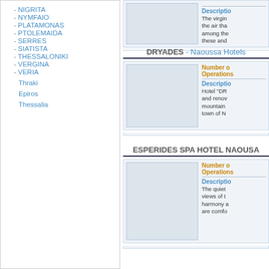- NIGRITA
- NYMFAIO
- PLATAMONAS
- PTOLEMAIDA
- SERRES
- SIATISTA
- THESSALONIKI
- VERGINA
- VERIA
Thraki
Epiros
Thessalia
DRYADES - Naoussa Hotels
[Figure (photo): Hotel photo placeholder for DRYADES]
Number o Operations
Descriptio Hotel "DR and renov mountain town of N
ESPERIDES SPA HOTEL NAOUSA
[Figure (photo): Hotel photo placeholder for ESPERIDES SPA HOTEL NAOUSA]
Number o Operations
Descriptio The quiet views of t harmony a are comfo